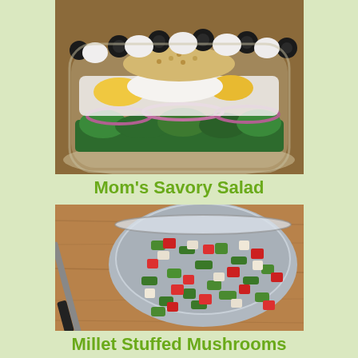[Figure (photo): A layered salad in a glass bowl, showing green lettuce at the bottom, red onion rings, creamy white dressing, yellow egg yolk, breadcrumbs, and black olives on top.]
Mom's Savory Salad
[Figure (photo): A metal mixing bowl on a wooden cutting board containing a chopped salad with strawberries, cucumbers, green peppers, and white vegetables. A knife is visible to the left.]
Millet Stuffed Mushrooms